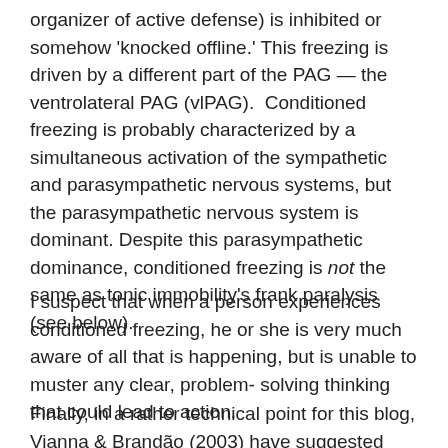organizer of active defense) is inhibited or somehow 'knocked offline.' This freezing is driven by a different part of the PAG — the ventrolateral PAG (vlPAG).  Conditioned freezing is probably characterized by a simultaneous activation of the sympathetic and parasympathetic nervous systems, but the parasympathetic nervous system is dominant. Despite this parasympathetic dominance, conditioned freezing is not the same as tonic immobility's frank paralysis (see below).
I suspect that when a person experiences conditioned freezing, he or she is very much aware of all that is happening, but is unable to muster any clear, problem-solving thinking that could lead to action.
Finally, in a rather technical point for this blog, Vianna & Brandão (2003) have suggested that